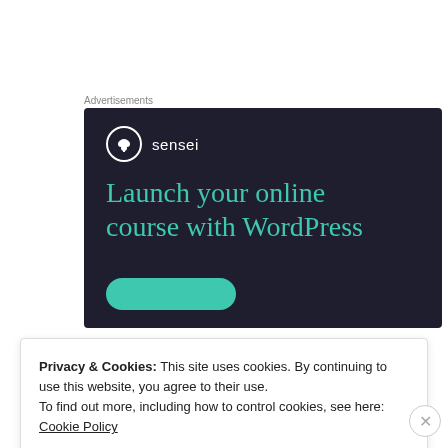Advertisements
[Figure (illustration): Sensei advertisement banner with dark navy background. Shows Sensei logo (tree icon in circle) with brand name, and headline text 'Launch your online course with WordPress' in teal/green color, with a teal rounded button at the bottom.]
Privacy & Cookies: This site uses cookies. By continuing to use this website, you agree to their use.
To find out more, including how to control cookies, see here: Cookie Policy
Close and accept